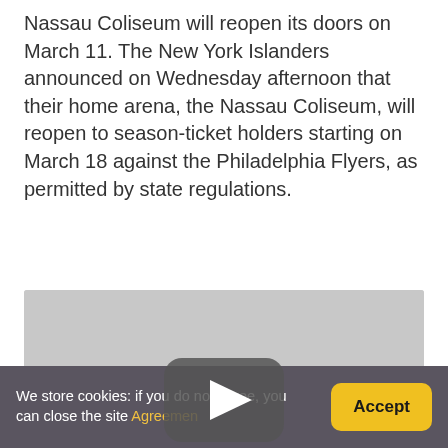Nassau Coliseum will reopen its doors on March 11. The New York Islanders announced on Wednesday afternoon that their home arena, the Nassau Coliseum, will reopen to season-ticket holders starting on March 18 against the Philadelphia Flyers, as permitted by state regulations.
[Figure (other): YouTube video embed placeholder showing a grey background with a YouTube play button (red rounded rectangle with white triangle play icon) centered in the frame.]
We store cookies: if you do not agree, you can close the site Agreement